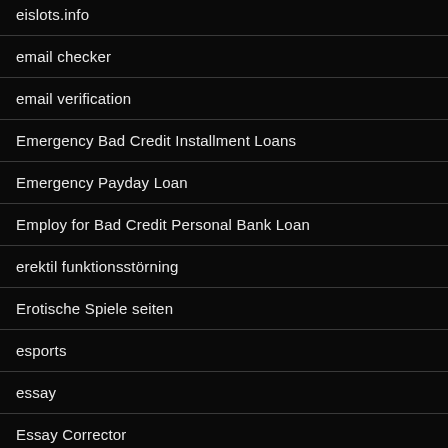eislots.info
email checker
email verification
Emergency Bad Credit Installment Loans
Emergency Payday Loan
Employ for Bad Credit Personal Bank Loan
erektil funktionsstörning
Erotische Spiele seiten
esports
essay
Essay Corrector
essay editing
Essay Help Service